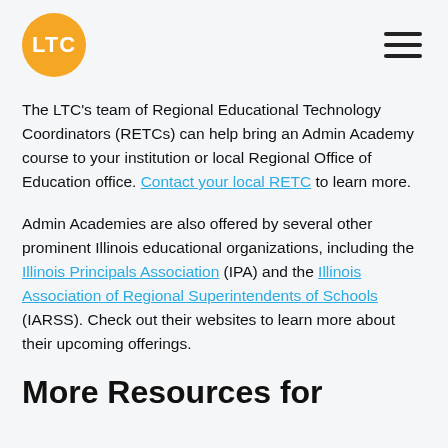LTC [logo] [hamburger menu]
The LTC's team of Regional Educational Technology Coordinators (RETCs) can help bring an Admin Academy course to your institution or local Regional Office of Education office. Contact your local RETC to learn more.
Admin Academies are also offered by several other prominent Illinois educational organizations, including the Illinois Principals Association (IPA) and the Illinois Association of Regional Superintendents of Schools (IARSS). Check out their websites to learn more about their upcoming offerings.
More Resources for